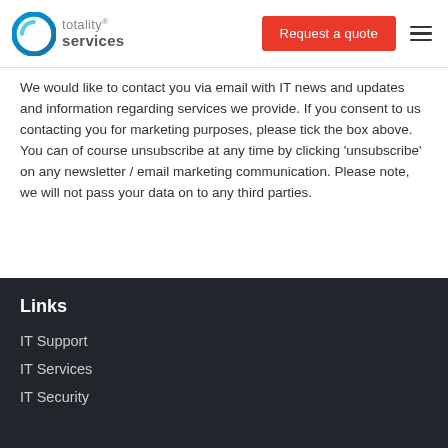totality® services | Request a quote
We would like to contact you via email with IT news and updates and information regarding services we provide. If you consent to us contacting you for marketing purposes, please tick the box above. You can of course unsubscribe at any time by clicking 'unsubscribe' on any newsletter / email marketing communication. Please note, we will not pass your data on to any third parties.
Links
IT Support
IT Services
IT Security